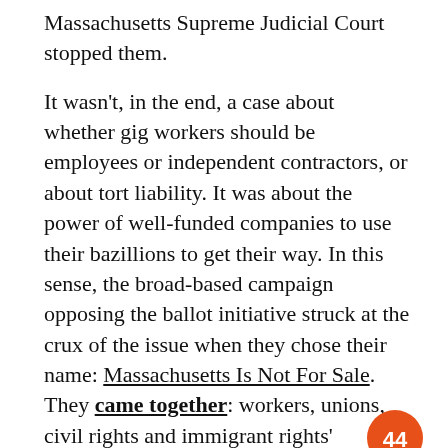Massachusetts Supreme Judicial Court stopped them.
It wasn't, in the end, a case about whether gig workers should be employees or independent contractors, or about tort liability. It was about the power of well-funded companies to use their bazillions to get their way. In this sense, the broad-based campaign opposing the ballot initiative struck at the crux of the issue when they chose their name: Massachusetts Is Not For Sale. They came together: workers, unions, civil rights and immigrant rights' organizations, environmentalists, seniors, and more, to make sure that massive out-of-state companies didn't get to rewrite long-established protective workplace laws.